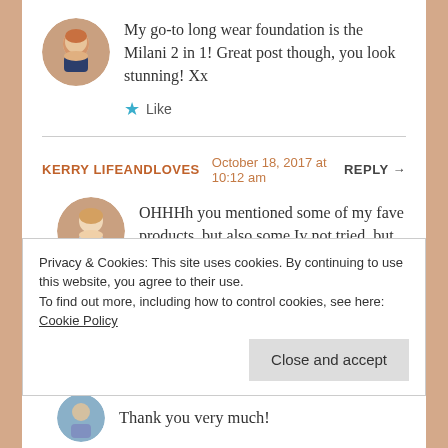My go-to long wear foundation is the Milani 2 in 1! Great post though, you look stunning! Xx
Like
KERRY LIFEANDLOVES  October 18, 2017 at 10:12 am  REPLY →
OHHHh you mentioned some of my fave products, but also some Iv not tried, but will now be seeking out! You look fab too by the way x. Great post x
Privacy & Cookies: This site uses cookies. By continuing to use this website, you agree to their use. To find out more, including how to control cookies, see here: Cookie Policy
Close and accept
Thank you very much!